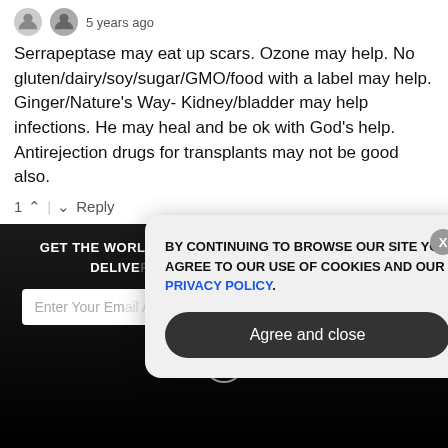5 years ago
Serrapeptase may eat up scars. Ozone may help. No gluten/dairy/soy/sugar/GMO/food with a label may help. Ginger/Nature's Way- Kidney/bladder may help infections. He may heal and be ok with God's help. Antirejection drugs for transplants may not be good also.
1 ^ | v Reply
Paul Prichard
5 years ago
The message is do not self-medicate with cheap alternatives to the expensive toxic sttt from big pharma.
[Figure (screenshot): Dark newsletter signup banner with text: GET THE WORLD'S BEST NATURAL HEALTH NEWSLETTER DELIVERED STRAIGHT TO YOUR INBOX, with email input field and SUBSCRIBE button, and a close X button]
[Figure (screenshot): Cookie consent modal overlay with text: BY CONTINUING TO BROWSE OUR SITE YOU AGREE TO OUR USE OF COOKIES AND OUR PRIVACY POLICY. with Agree and close button and X close button]